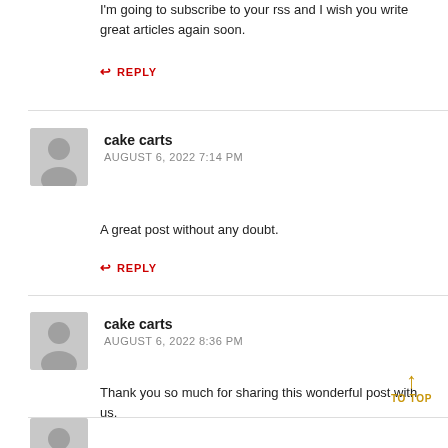I'm going to subscribe to your rss and I wish you write great articles again soon.
↩ REPLY
cake carts
AUGUST 6, 2022 7:14 PM
A great post without any doubt.
↩ REPLY
cake carts
AUGUST 6, 2022 8:36 PM
Thank you so much for sharing this wonderful post with us.
↩ REPLY
↑ TO TOP